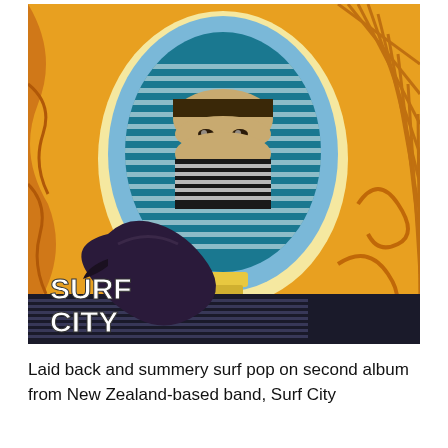[Figure (illustration): Album artwork for Surf City's second album. A psychedelic illustration featuring a large light-bulb shape in teal/blue with white horizontal stripes and a face inside it, set against a yellow and orange background with decorative swirling patterns. A large dark bird (appears to be a crow or raven) is in the foreground lower-left, and the band name 'SURF CITY' appears in bold stylized text on the lower left of the artwork.]
Laid back and summery surf pop on second album from New Zealand-based band, Surf City